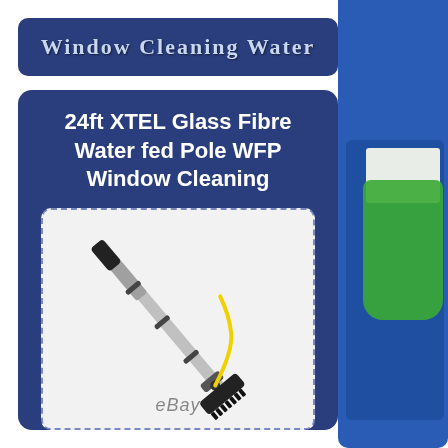Window Cleaning Water
24ft XTEL Glass Fibre Water fed Pole WFP Window Cleaning
[Figure (photo): Water-fed window cleaning pole with brush head attachment and yellow hose, shown diagonally on white/light grey background. eBay watermark visible at the bottom.]